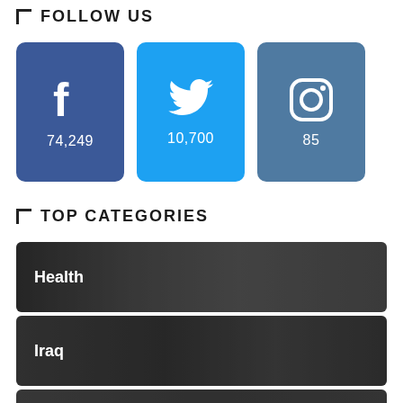FOLLOW US
[Figure (infographic): Social media follow buttons: Facebook 74,249 followers, Twitter 10,700 followers, Instagram 85 followers]
TOP CATEGORIES
[Figure (photo): Category banner for Health showing people in protective gear]
[Figure (photo): Category banner for Iraq showing a person with an Iraqi flag]
[Figure (photo): Category banner partially visible at bottom of page]